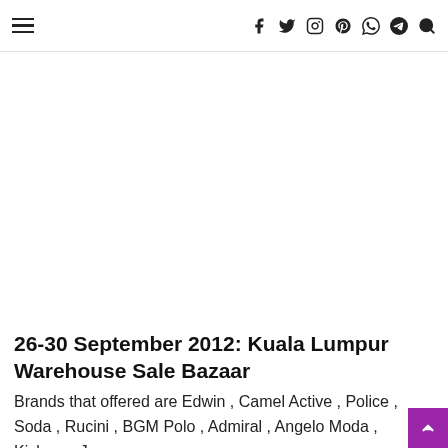≡  f  twitter  instagram  pinterest  whatsapp  telegram  search
26-30 September 2012: Kuala Lumpur Warehouse Sale Bazaar
Brands that offered are Edwin , Camel Active , Police , Soda , Rucini , BGM Polo , Admiral , Angelo Moda , Kickers , Jeans